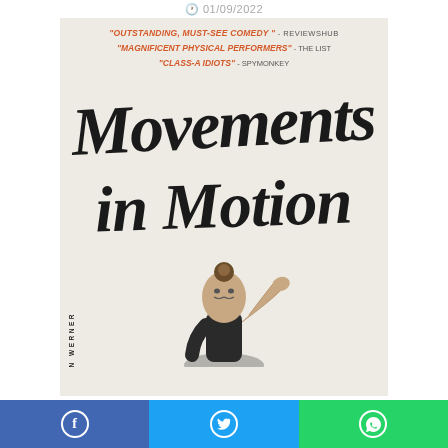01/09/2022
[Figure (photo): Promotional poster for 'Movements in Motion' by Lachlan Werner, featuring critic quotes in orange italic text ('OUTSTANDING, MUST-SEE COMEDY - REVIEWSHUB', 'MAGNIFICENT PHYSICAL PERFORMERS - THE LIST', 'CLASS-A IDIOTS - SPYMONKEY'), large hand-lettered title text, and a performer making an expressive pose with hand raised to head against a light beige background.]
Share on Facebook | Share on Twitter | Share on WhatsApp